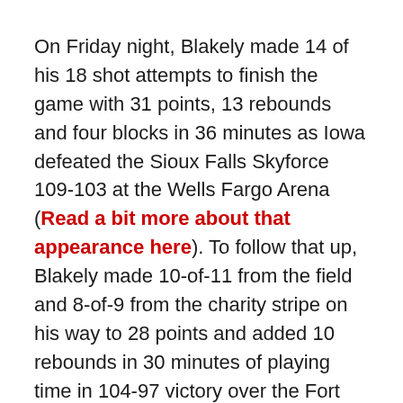On Friday night, Blakely made 14 of his 18 shot attempts to finish the game with 31 points, 13 rebounds and four blocks in 36 minutes as Iowa defeated the Sioux Falls Skyforce 109-103 at the Wells Fargo Arena (Read a bit more about that appearance here). To follow that up, Blakely made 10-of-11 from the field and 8-of-9 from the charity stripe on his way to 28 points and added 10 rebounds in 30 minutes of playing time in 104-97 victory over the Fort Wayne Mad Ants on Sunday.
The 6-foot-5 former college power forward (transitioning now into a small/combo forward), aside from showing that he can step up and score when needed in the absence of Jeffers, Taylor and Sims, showed that he was pretty versatile in the ways that he